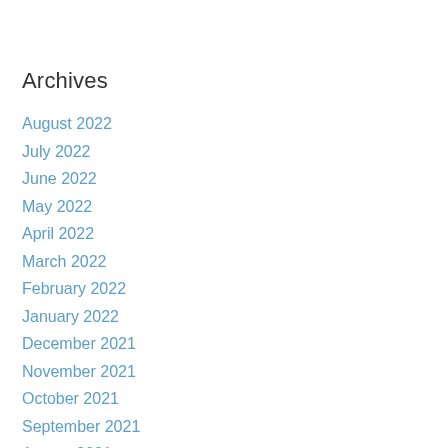Archives
August 2022
July 2022
June 2022
May 2022
April 2022
March 2022
February 2022
January 2022
December 2021
November 2021
October 2021
September 2021
August 2021
July 2021
June 2021